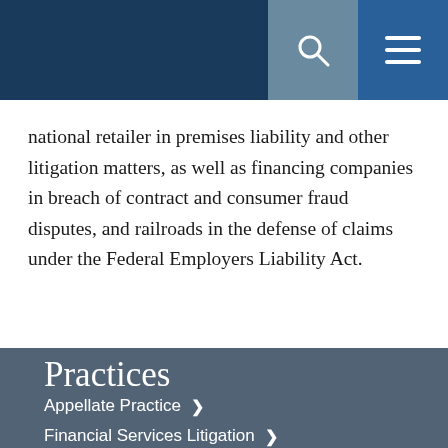national retailer in premises liability and other litigation matters, as well as financing companies in breach of contract and consumer fraud disputes, and railroads in the defense of claims under the Federal Employers Liability Act.
Practices
Appellate Practice
Financial Services Litigation